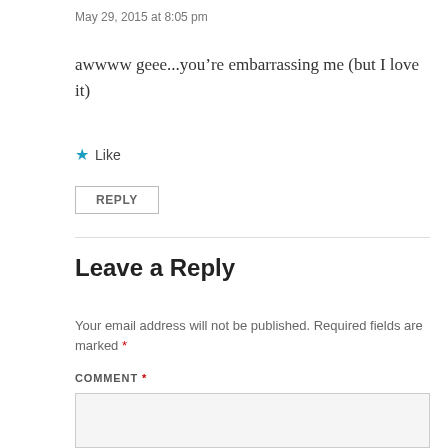May 29, 2015 at 8:05 pm
awwww geee...you’re embarrassing me (but I love it)
★ Like
REPLY
Leave a Reply
Your email address will not be published. Required fields are marked *
COMMENT *